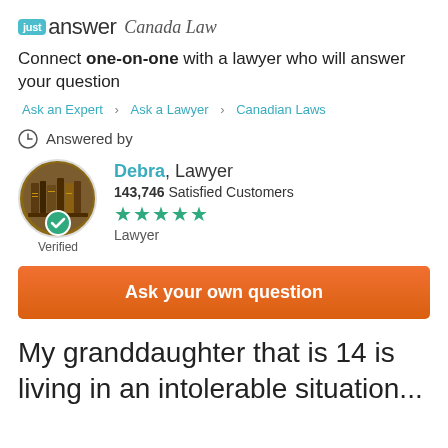just answer Canada Law
Connect one-on-one with a lawyer who will answer your question
Ask an Expert > Ask a Lawyer > Canadian Laws
Answered by
[Figure (photo): Profile photo of Debra, a lawyer, showing books in a circular cropped image with a green verified checkmark badge underneath]
Debra, Lawyer
143,746 Satisfied Customers
★★★★★
Lawyer
Verified
Ask your own question
My granddaughter that is 14 is living in an intolerable situation...